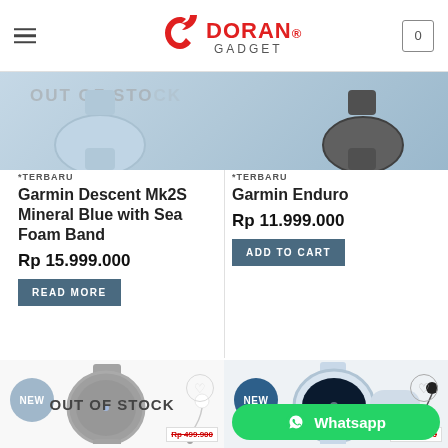DORAN GADGET
[Figure (screenshot): Hero banner showing two Garmin watches with OUT OF STOCK watermark]
*TERBARU
Garmin Descent Mk2S Mineral Blue with Sea Foam Band
Rp 15.999.000
READ MORE
*TERBARU
Garmin Enduro
Rp 11.999.000
ADD TO CART
[Figure (photo): Garmin watch product photo with NEW badge and OUT OF STOCK overlay, earbuds decoration, price tag Rp 499.900]
[Figure (photo): Garmin watch product photo with NEW badge and Whatsapp button, price tag Rp 499.900]